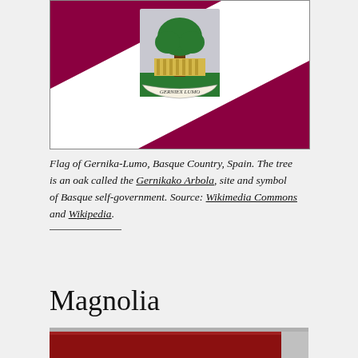[Figure (illustration): Flag of Gernika-Lumo: deep crimson/maroon background with white diagonal stripe from lower-left to upper-right, centered coat of arms showing an oak tree above a classical building on a green field with a banner reading 'GERNIEX LUMO']
Flag of Gernika-Lumo, Basque Country, Spain. The tree is an oak called the Gernikako Arbola, site and symbol of Basque self-government. Source: Wikimedia Commons and Wikipedia.
Magnolia
[Figure (photo): Partial view of what appears to be a red object, possibly a book or sign, cropped at the bottom of the page]